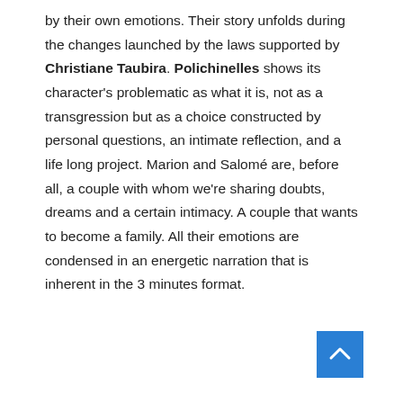by their own emotions. Their story unfolds during the changes launched by the laws supported by Christiane Taubira. Polichinelles shows its character's problematic as what it is, not as a transgression but as a choice constructed by personal questions, an intimate reflection, and a life long project. Marion and Salomé are, before all, a couple with whom we're sharing doubts, dreams and a certain intimacy. A couple that wants to become a family. All their emotions are condensed in an energetic narration that is inherent in the 3 minutes format.